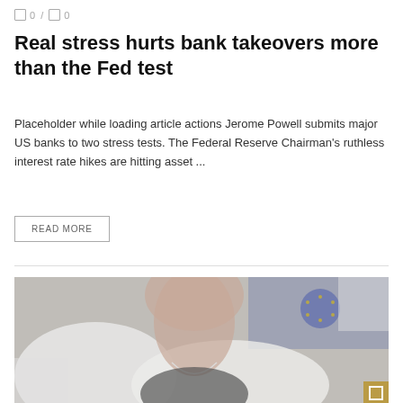0 / 0
Real stress hurts bank takeovers more than the Fed test
Placeholder while loading article actions Jerome Powell submits major US banks to two stress tests. The Federal Reserve Chairman’s ruthless interest rate hikes are hitting asset ...
READ MORE
[Figure (photo): Close-up photograph of a woman in a white blazer with a necklace, with a blurred EU flag in the background. A red 'BANK EARNINGS' label overlays the top-left of the image.]